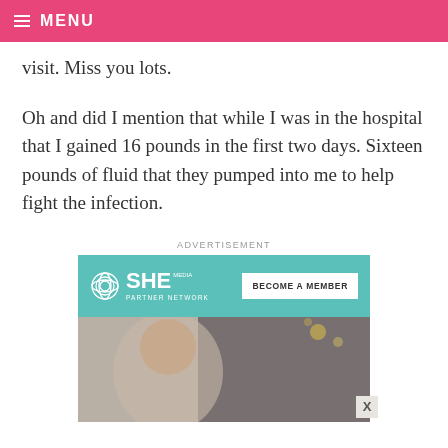MENU
visit. Miss you lots.
Oh and did I mention that while I was in the hospital that I gained 16 pounds in the first two days. Sixteen pounds of fluid that they pumped into me to help fight the infection.
[Figure (other): Advertisement banner for SHE Media Partner Network with 'Become a Member' call to action and photo of a smiling woman wearing glasses]
ADVERTISEMENT